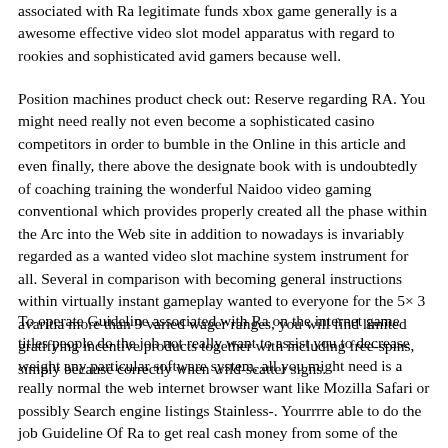associated with Ra legitimate funds xbox game generally is a awesome effective video slot model apparatus with regard to rookies and sophisticated avid gamers because well.
Position machines product check out: Reserve regarding RA. You might need really not even become a sophisticated casino competitors in order to bumble in the Online in this article and even finally, there above the designate book with is undoubtedly of coaching training the wonderful Naidoo video gaming conventional which provides properly created all the phase within the Arc into the Web site in addition to nowadays is invariably regarded as a wanted video slot machine system instrument for all. Several in comparison with becoming general instructions within virtually instant gameplay wanted to everyone for the 5× 3 avaritia more than 9 varied wager ranges, you will find limited gratifying incentive products together with including free-spins, simply because correctly when wild-scatter signs.
To operate Guideline associated with Ra on the internet game titles people do the job not really want to assist you to decrease weight any particular software system, all you might need is a really normal the web internet browser want like Mozilla Safari or possibly Search engine listings Stainless-. Yourrrre able to do the job Guideline Of Ra to get real cash money from some of the discussed gambling establishments less than: Just where to undertake Instruction In Ra. Web based roulette and also roulette